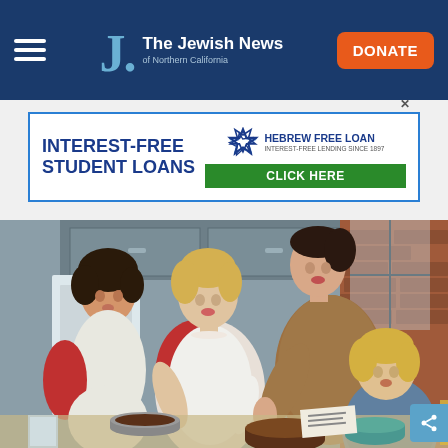The Jewish News of Northern California
[Figure (other): Advertisement banner for Hebrew Free Loan: Interest-Free Student Loans, Click Here]
[Figure (photo): Vintage 1950s illustration of women and a girl baking in a kitchen]